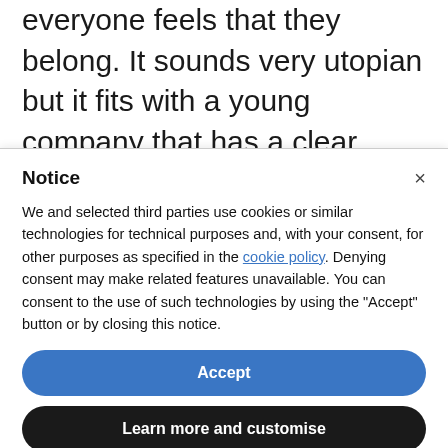everyone feels that they belong. It sounds very utopian but it fits with a young company that has a clear approach to how it wants to be seen. This is not about political correctness. It is everything about ensuring people are treated fairly and with
Notice
We and selected third parties use cookies or similar technologies for technical purposes and, with your consent, for other purposes as specified in the cookie policy. Denying consent may make related features unavailable. You can consent to the use of such technologies by using the "Accept" button or by closing this notice.
Accept
Learn more and customise